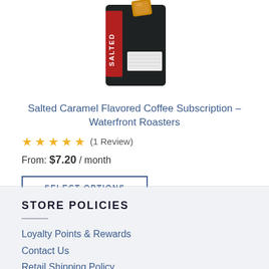[Figure (photo): Product image of a dark coffee bag labeled 'SALTED' with a caramel candy on top]
Salted Caramel Flavored Coffee Subscription – Waterfront Roasters
★★★★★ (1 Review)
From: $7.20 / month
SELECT OPTIONS
STORE POLICIES
Loyalty Points & Rewards
Contact Us
Retail Shipping Policy